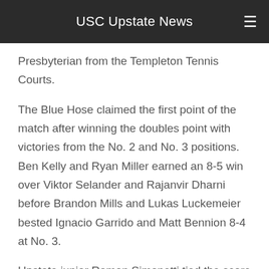USC Upstate News
Presbyterian from the Templeton Tennis Courts.
The Blue Hose claimed the first point of the match after winning the doubles point with victories from the No. 2 and No. 3 positions. Ben Kelly and Ryan Miller earned an 8-5 win over Viktor Selander and Rajanvir Dharni before Brandon Mills and Lukas Luckemeier bested Ignacio Garrido and Matt Bennion 8-4 at No. 3.
Upstate junior Ramon Simonetti tied the score 1-1 when he posted a 6-2, 6-1 win over